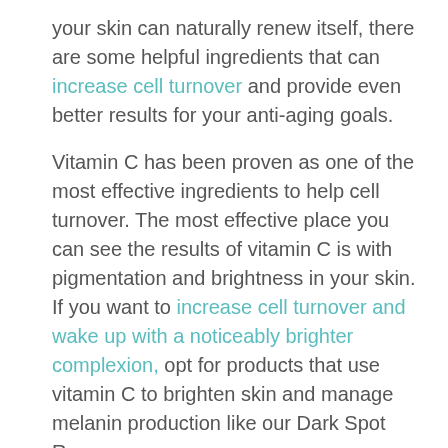your skin can naturally renew itself, there are some helpful ingredients that can increase cell turnover and provide even better results for your anti-aging goals.
Vitamin C has been proven as one of the most effective ingredients to help cell turnover. The most effective place you can see the results of vitamin C is with pigmentation and brightness in your skin. If you want to increase cell turnover and wake up with a noticeably brighter complexion, opt for products that use vitamin C to brighten skin and manage melanin production like our Dark Spot Remover.